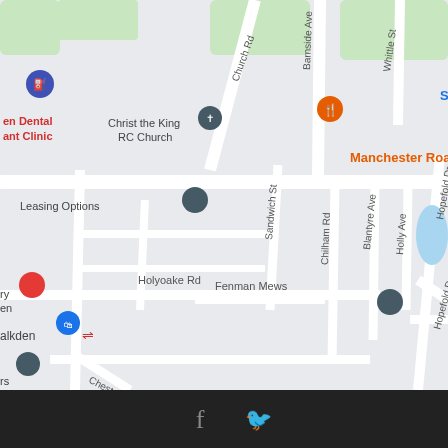[Figure (map): Google Maps screenshot showing Walkden area in Manchester, UK. Shows roads including Church Rd, Barnside Ave, Whittle St, Hopefold Dr, Sandwich St, Chilham Rd, Blantyre Ave, Holly Ave, Holyoake Rd, Chestnut Ave, Fenman Mews. Points of interest include Christ the King RC Church, SPAR Walkden, Manchester Road Chippy, Christ The King RC Primary School, Leasing Options, Walkden train station, Fix Furniture. Green areas, a small blue water body visible. Map pins in teal/blue, red, orange, green colors.]
[Figure (other): Dark footer bar with Facebook and Twitter social media icons in light gray]